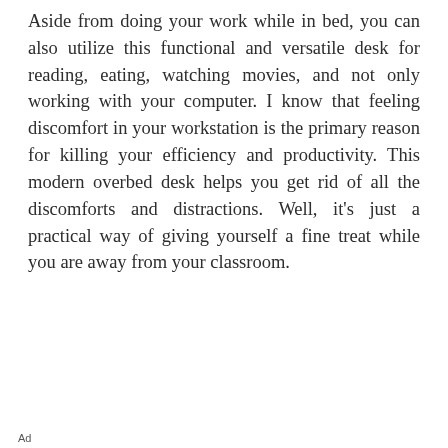Aside from doing your work while in bed, you can also utilize this functional and versatile desk for reading, eating, watching movies, and not only working with your computer. I know that feeling discomfort in your workstation is the primary reason for killing your efficiency and productivity. This modern overbed desk helps you get rid of all the discomforts and distractions. Well, it's just a practical way of giving yourself a fine treat while you are away from your classroom.
[Figure (other): Red rounded-rectangle call-to-action button with white text: 'Get Yours On Amazon Now--->' with a smaller advertisement banner below showing 'Download The Free App' on the left and a red 'Download' button on the right with ad play/close icons.]